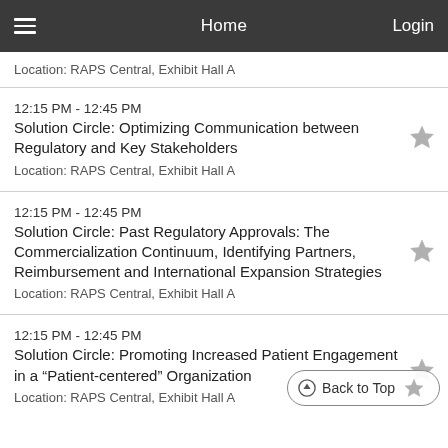Home | Login
Location: RAPS Central, Exhibit Hall A
12:15 PM - 12:45 PM
Solution Circle: Optimizing Communication between Regulatory and Key Stakeholders
Location: RAPS Central, Exhibit Hall A
12:15 PM - 12:45 PM
Solution Circle: Past Regulatory Approvals: The Commercialization Continuum, Identifying Partners, Reimbursement and International Expansion Strategies
Location: RAPS Central, Exhibit Hall A
12:15 PM - 12:45 PM
Solution Circle: Promoting Increased Patient Engagement in a “Patient-centered” Organization
Location: RAPS Central, Exhibit Hall A